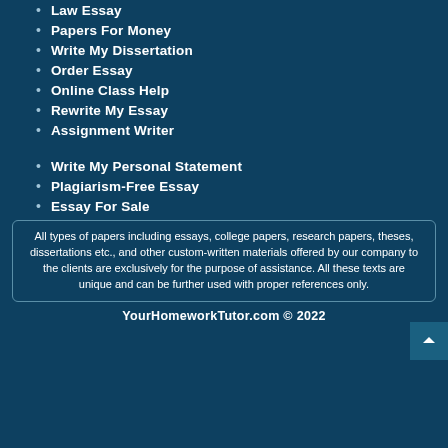Law Essay
Papers For Money
Write My Dissertation
Order Essay
Online Class Help
Rewrite My Essay
Assignment Writer
Write My Personal Statement
Plagiarism-Free Essay
Essay For Sale
All types of papers including essays, college papers, research papers, theses, dissertations etc., and other custom-written materials offered by our company to the clients are exclusively for the purpose of assistance. All these texts are unique and can be further used with proper references only.
YourHomeworkTutor.com © 2022